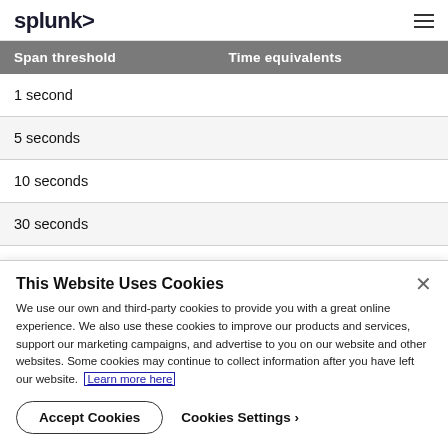splunk>
| Span threshold | Time equivalents |
| --- | --- |
| 1 second |  |
| 5 seconds |  |
| 10 seconds |  |
| 30 seconds |  |
This Website Uses Cookies
We use our own and third-party cookies to provide you with a great online experience. We also use these cookies to improve our products and services, support our marketing campaigns, and advertise to you on our website and other websites. Some cookies may continue to collect information after you have left our website. Learn more here
Accept Cookies
Cookies Settings ›